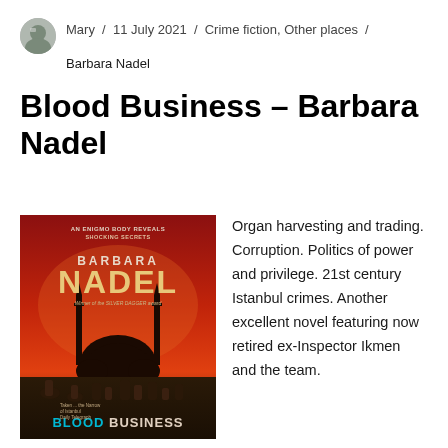Mary / 11 July 2021 / Crime fiction, Other places / Barbara Nadel
Blood Business – Barbara Nadel
[Figure (photo): Photo of the book 'Blood Business' by Barbara Nadel, showing the book cover with a red background, silhouette of Istanbul skyline, and text: AN ENIGMO BODY REVEALS SHOCKING SECRETS, BARBARA NADEL, Winner of the SILVER DAGGER award, BLOOD BUSINESS]
Organ harvesting and trading. Corruption. Politics of power and privilege. 21st century Istanbul crimes. Another excellent novel featuring now retired ex-Inspector Ikmen and the team.